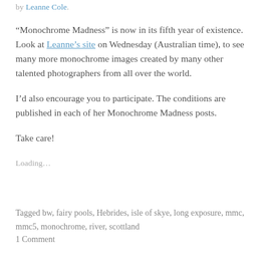by Leanne Cole.
“Monochrome Madness” is now in its fifth year of existence. Look at Leanne’s site on Wednesday (Australian time), to see many more monochrome images created by many other talented photographers from all over the world.
I’d also encourage you to participate. The conditions are published in each of her Monochrome Madness posts.
Take care!
Loading…
Tagged bw, fairy pools, Hebrides, isle of skye, long exposure, mmc, mmc5, monochrome, river, scottland
1 Comment